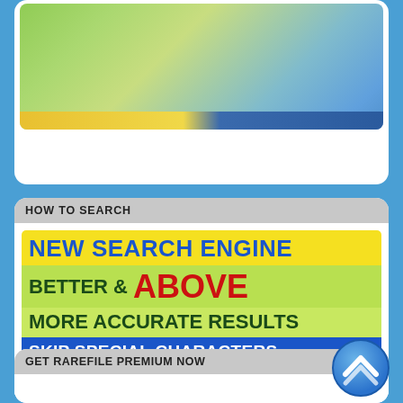[Figure (photo): Partial top card showing children in a field, with a yellow and blue banner at the bottom of the photo]
HOW TO SEARCH
[Figure (infographic): Promotional banner: 'NEW SEARCH ENGINE' in blue on yellow background, 'BETTER & ABOVE' in dark green and red on green background, 'MORE ACCURATE RESULTS' in dark green on light green, 'SKIP SPECIAL CHARACTERS' in white on blue with yellow symbols & ? ' : ,]
GET RAREFILE PREMIUM NOW
[Figure (other): Scroll-to-top button, blue circular chevron icon]